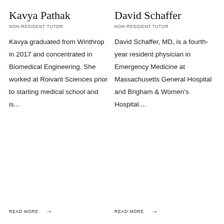Kavya Pathak
NON-RESIDENT TUTOR
Kavya graduated from Winthrop in 2017 and concentrated in Biomedical Engineering. She worked at Roivant Sciences prior to starting medical school and is...
READ MORE →
David Schaffer
NON-RESIDENT TUTOR
David Schaffer, MD, is a fourth-year resident physician in Emergency Medicine at Massachusetts General Hospital and Brigham & Women's Hospital....
READ MORE →